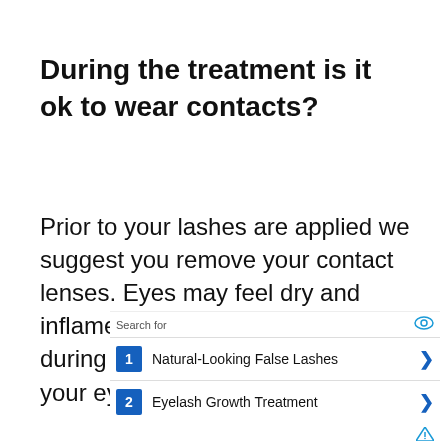During the treatment is it ok to wear contacts?
Prior to your lashes are applied we suggest you remove your contact lenses. Eyes may feel dry and inflamed with contact lenses kept in during lash application because your eyes
[Figure (other): Advertisement overlay with search results for 'Natural-Looking False Lashes' and 'Eyelash Growth Treatment']